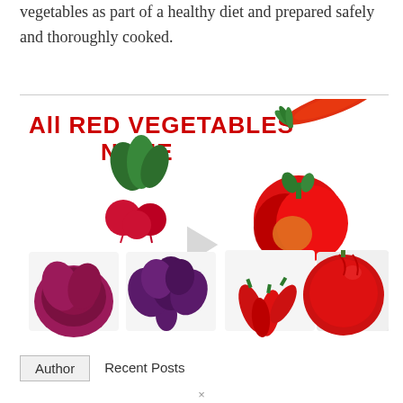vegetables as part of a healthy diet and prepared safely and thoroughly cooked.
[Figure (illustration): A collage image titled 'All RED VEGETABLES NAME' with red text on white background, showing various red vegetables: a red carrot (top right), radishes with green leaves (middle left), red bell peppers (middle right), purple/red radicchio (bottom left), purple kale (bottom center-left), red chili peppers (bottom center), small red onions (bottom center-right), and a red tomato (bottom right). A play button triangle is visible in the center.]
Author   Recent Posts